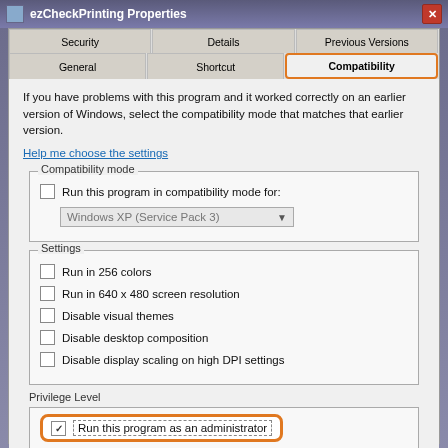ezCheckPrinting Properties
If you have problems with this program and it worked correctly on an earlier version of Windows, select the compatibility mode that matches that earlier version.
Help me choose the settings
Compatibility mode
Run this program in compatibility mode for:
Windows XP (Service Pack 3)
Settings
Run in 256 colors
Run in 640 x 480 screen resolution
Disable visual themes
Disable desktop composition
Disable display scaling on high DPI settings
Privilege Level
Run this program as an administrator